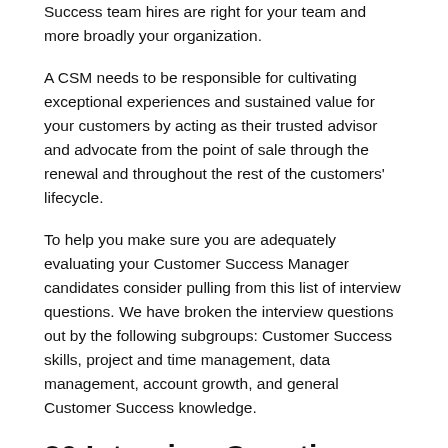Success team hires are right for your team and more broadly your organization.
A CSM needs to be responsible for cultivating exceptional experiences and sustained value for your customers by acting as their trusted advisor and advocate from the point of sale through the renewal and throughout the rest of the customers' lifecycle.
To help you make sure you are adequately evaluating your Customer Success Manager candidates consider pulling from this list of interview questions. We have broken the interview questions out by the following subgroups: Customer Success skills, project and time management, data management, account growth, and general Customer Success knowledge.
20 Interview Questions to Ask